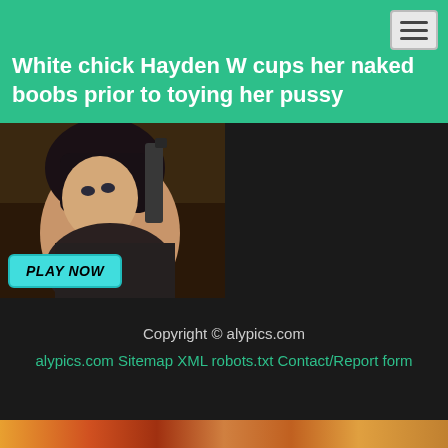White chick Hayden W cups her naked boobs prior to toying her pussy
[Figure (photo): Advertisement image showing an animated/3D rendered female character with dark hair, with a 'PLAY NOW' button overlay]
Copyright © alypics.com
alypics.com Sitemap XML robots.txt Contact/Report form